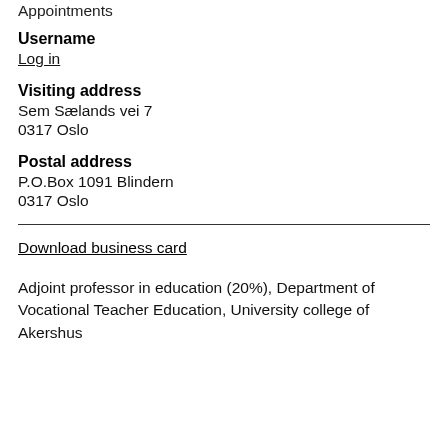Appointments
Username
Log in
Visiting address
Sem Sælands vei 7
0317 Oslo
Postal address
P.O.Box 1091 Blindern
0317 Oslo
Download business card
Adjoint professor in education (20%), Department of Vocational Teacher Education, University college of Akershus